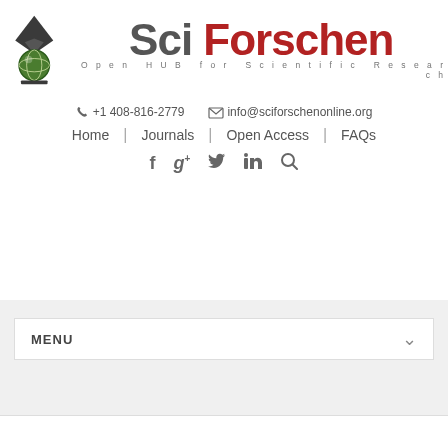[Figure (logo): Sci Forschen logo with pen nib and globe icon, tagline: Open HUB for Scientific Research]
+1 408-816-2779   info@sciforschenonline.org
Home | Journals | Open Access | FAQs
f  g+  twitter  in  search icons
MENU